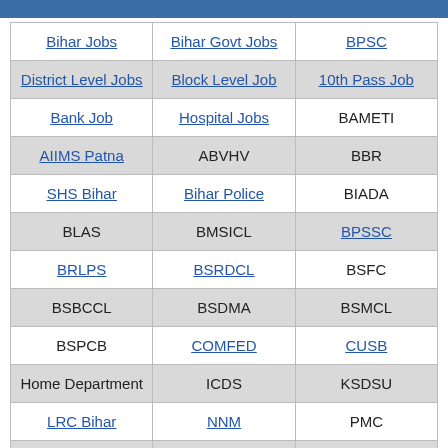| Bihar Jobs | Bihar Govt Jobs | BPSC |
| District Level Jobs | Block Level Job | 10th Pass Job |
| Bank Job | Hospital Jobs | BAMETI |
| AIIMS Patna | ABVHV | BBR |
| SHS Bihar | Bihar Police | BIADA |
| BLAS | BMSICL | BPSSC |
| BRLPS | BSRDCL | BSFC |
| BSBCCL | BSDMA | BSMCL |
| BSPCB | COMFED | CUSB |
| Home Department | ICDS | KSDSU |
| LRC Bihar | NNM | PMC |
| RLBINS | BPSLI | SHB |